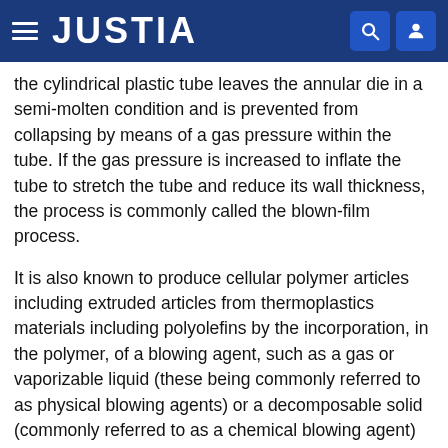JUSTIA
the cylindrical plastic tube leaves the annular die in a semi-molten condition and is prevented from collapsing by means of a gas pressure within the tube. If the gas pressure is increased to inflate the tube to stretch the tube and reduce its wall thickness, the process is commonly called the blown-film process.
It is also known to produce cellular polymer articles including extruded articles from thermoplastics materials including polyolefins by the incorporation, in the polymer, of a blowing agent, such as a gas or vaporizable liquid (these being commonly referred to as physical blowing agents) or a decomposable solid (commonly referred to as a chemical blowing agent) under conditions which prevent substantial cell formation within the polymer and then altering the conditions during or after extrusion such that cell